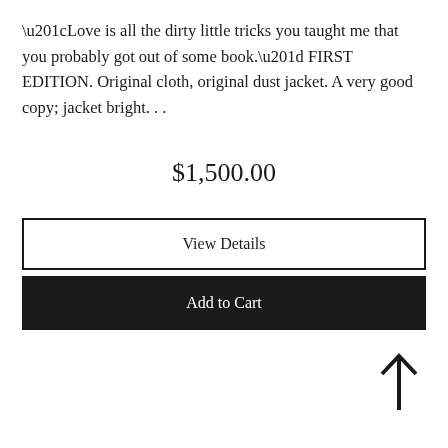“Love is all the dirty little tricks you taught me that you probably got out of some book.” FIRST EDITION. Original cloth, original dust jacket. A very good copy; jacket bright. . .
$1,500.00
View Details
Add to Cart